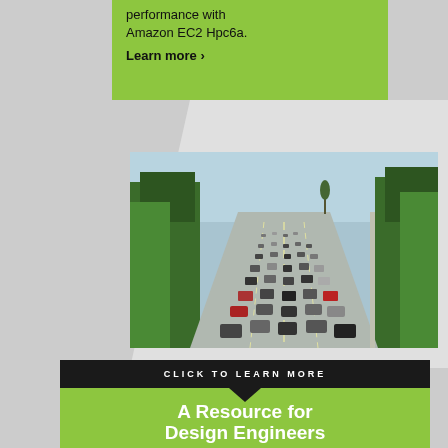performance with Amazon EC2 Hpc6a.
Learn more ›
[Figure (photo): Aerial view of a busy multi-lane freeway with heavy traffic, surrounded by trees on both sides, shot from an elevated angle in daylight.]
CLICK TO LEARN MORE
A Resource for Design Engineers